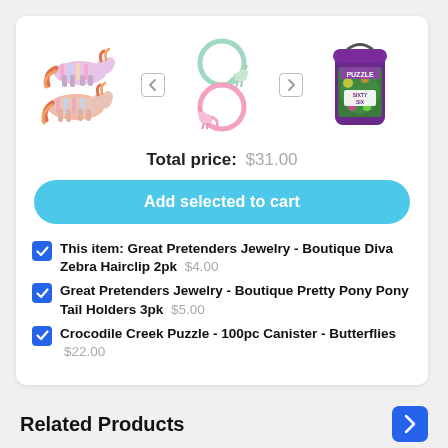[Figure (photo): Product images: two rainbow zebra hair clips, unicorn pony tail holders with rings, and a butterfly puzzle canister]
Total price: $31.00
Add selected to cart
This item: Great Pretenders Jewelry - Boutique Diva Zebra Hairclip 2pk $4.00
Great Pretenders Jewelry - Boutique Pretty Pony Pony Tail Holders 3pk $5.00
Crocodile Creek Puzzle - 100pc Canister - Butterflies $22.00
Related Products